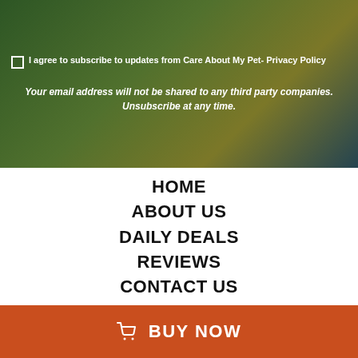I agree to subscribe to updates from Care About My Pet- Privacy Policy
Your email address will not be shared to any third party companies. Unsubscribe at any time.
HOME
ABOUT US
DAILY DEALS
REVIEWS
CONTACT US
TERMS OF SERVICE
REFUND/RETURN POLICY
BUY NOW